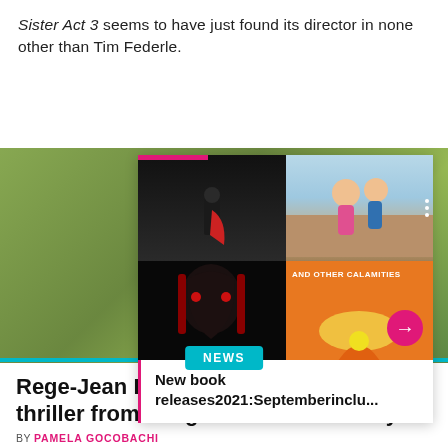Sister Act 3 seems to have just found its director in none other than Tim Federle.
[Figure (screenshot): Composite image showing a book recommendation card overlay on a green-tinted photo background. The card has four movie/book cover images in a 2x2 grid, with text 'New book releases2021:Septemberinclu...' below.]
New book releases2021:Septemberinclu...
NEWS
Rege-Jean Page to star in Netflix thriller from 'Fargo' vet Noah Hawley
BY PAMELA GOCOBACHI